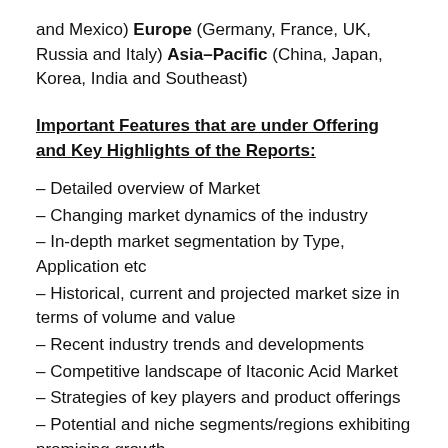and Mexico) Europe (Germany, France, UK, Russia and Italy) Asia–Pacific (China, Japan, Korea, India and Southeast)
Important Features that are under Offering and Key Highlights of the Reports:
– Detailed overview of Market
– Changing market dynamics of the industry
– In-depth market segmentation by Type, Application etc
– Historical, current and projected market size in terms of volume and value
– Recent industry trends and developments
– Competitive landscape of Itaconic Acid Market
– Strategies of key players and product offerings
– Potential and niche segments/regions exhibiting promising growth